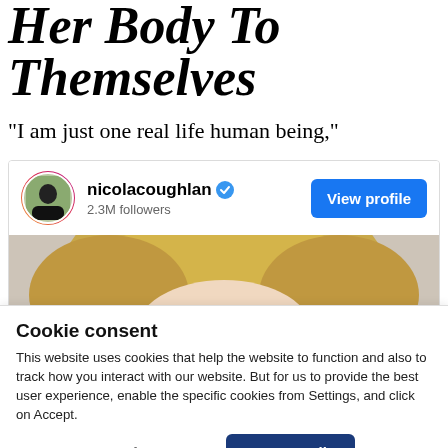Her Body To Themselves
"I am just one real life human being,"
[Figure (screenshot): Instagram profile card for nicolacoughlan with 2.3M followers and a View profile button, showing a partial photo of a blonde woman with blue eyeshadow]
Cookie consent
This website uses cookies that help the website to function and also to track how you interact with our website. But for us to provide the best user experience, enable the specific cookies from Settings, and click on Accept.
Preferences    Accept All